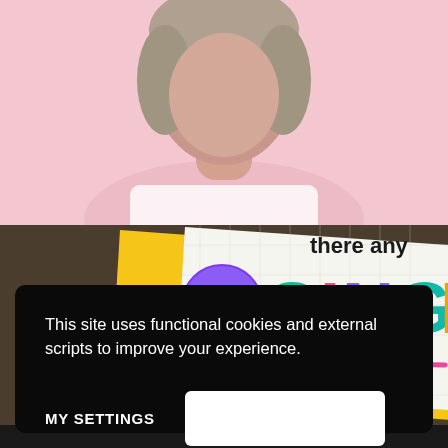[Figure (photo): Top portion of a person with short blonde/brown hair against a pink background, cropped at chin level]
[Figure (illustration): Colorful graphic showing the text 'I'm SINGLE' in large multicolored letters on a grid-paper style card with yellow border, pink underline, on a dark background]
This site uses functional cookies and external scripts to improve your experience.
MY SETTINGS